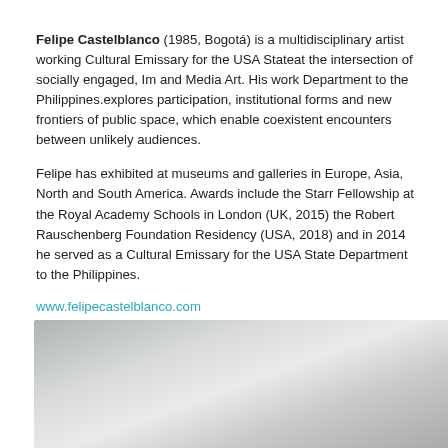Felipe Castelblanco (1985, Bogotá) is a multidisciplinary artist working Cultural Emissary for the USA Stateat the intersection of socially engaged, Im and Media Art. His work Department to the Philippines.explores participation, institutional forms and new frontiers of public space, which enable coexistent encounters between unlikely audiences.
Felipe has exhibited at museums and galleries in Europe, Asia, North and South America. Awards include the Starr Fellowship at the Royal Academy Schools in London (UK, 2015) the Robert Rauschenberg Foundation Residency (USA, 2018) and in 2014 he served as a Cultural Emissary for the USA State Department to the Philippines.
www.felipecastelblanco.com
[Figure (photo): A partially visible photograph showing a light gray sky with soft cloud gradients, cropped at the bottom of the page.]